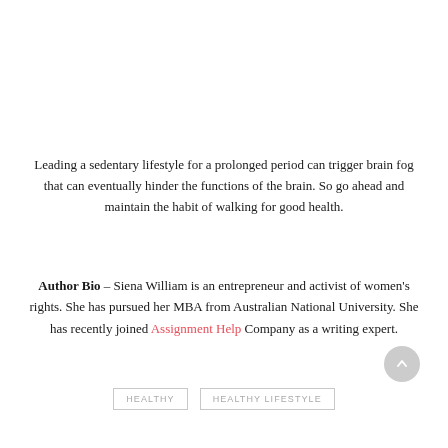Leading a sedentary lifestyle for a prolonged period can trigger brain fog that can eventually hinder the functions of the brain. So go ahead and maintain the habit of walking for good health.
Author Bio – Siena William is an entrepreneur and activist of women's rights. She has pursued her MBA from Australian National University. She has recently joined Assignment Help Company as a writing expert.
HEALTHY   HEALTHY LIFESTYLE